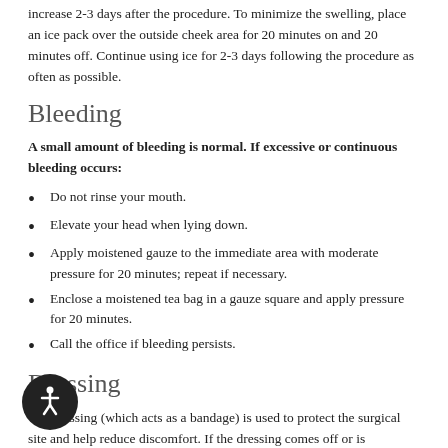increase 2-3 days after the procedure. To minimize the swelling, place an ice pack over the outside cheek area for 20 minutes on and 20 minutes off. Continue using ice for 2-3 days following the procedure as often as possible.
Bleeding
A small amount of bleeding is normal. If excessive or continuous bleeding occurs:
Do not rinse your mouth.
Elevate your head when lying down.
Apply moistened gauze to the immediate area with moderate pressure for 20 minutes; repeat if necessary.
Enclose a moistened tea bag in a gauze square and apply pressure for 20 minutes.
Call the office if bleeding persists.
Dressing
The dressing (which acts as a bandage) is used to protect the surgical site and help reduce discomfort. If the dressing comes off or is uncomfortable, please call the office for direction.